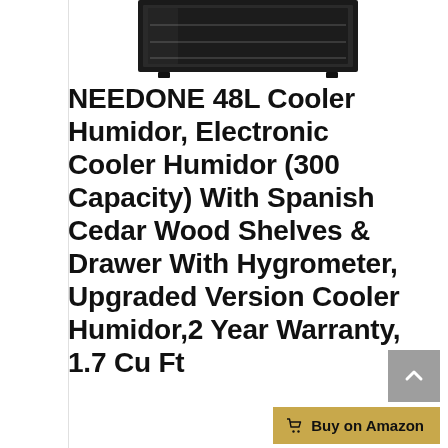[Figure (photo): Partial view of a black cooler humidor appliance, showing the top portion of the unit]
NEEDONE 48L Cooler Humidor, Electronic Cooler Humidor (300 Capacity) With Spanish Cedar Wood Shelves & Drawer With Hygrometer, Upgraded Version Cooler Humidor,2 Year Warranty, 1.7 Cu Ft